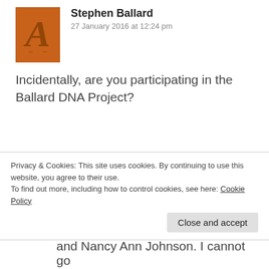Stephen Ballard
27 January 2016 at 12:24 pm
Incidentally, are you participating in the Ballard DNA Project?
David Ballard
27 January 2016 at 1:08 pm
Yes, I am going to be sending my DNA in
Privacy & Cookies: This site uses cookies. By continuing to use this website, you agree to their use.
To find out more, including how to control cookies, see here: Cookie Policy
Close and accept
and Nancy Ann Johnson. I cannot go